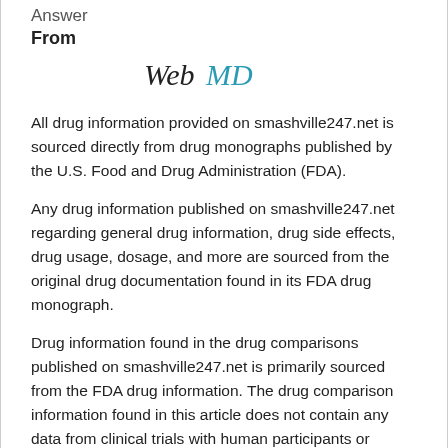Answer
From
[Figure (logo): WebMD logo in blue and dark text]
All drug information provided on smashville247.net is sourced directly from drug monographs published by the U.S. Food and Drug Administration (FDA).
Any drug information published on smashville247.net regarding general drug information, drug side effects, drug usage, dosage, and more are sourced from the original drug documentation found in its FDA drug monograph.
Drug information found in the drug comparisons published on smashville247.net is primarily sourced from the FDA drug information. The drug comparison information found in this article does not contain any data from clinical trials with human participants or animals performed by any of the drug manufacturers